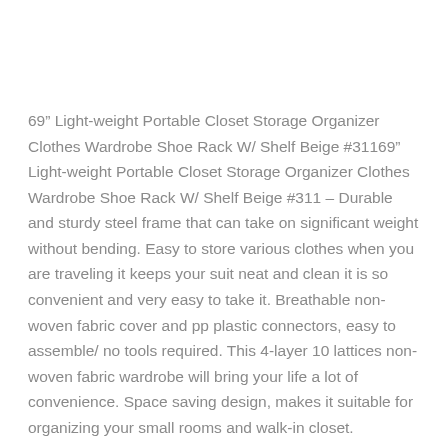69″ Light-weight Portable Closet Storage Organizer Clothes Wardrobe Shoe Rack W/ Shelf Beige #31169″ Light-weight Portable Closet Storage Organizer Clothes Wardrobe Shoe Rack W/ Shelf Beige #311 – Durable and sturdy steel frame that can take on significant weight without bending. Easy to store various clothes when you are traveling it keeps your suit neat and clean it is so convenient and very easy to take it. Breathable non-woven fabric cover and pp plastic connectors, easy to assemble/ no tools required. This 4-layer 10 lattices non-woven fabric wardrobe will bring your life a lot of convenience. Space saving design, makes it suitable for organizing your small rooms and walk-in closet.